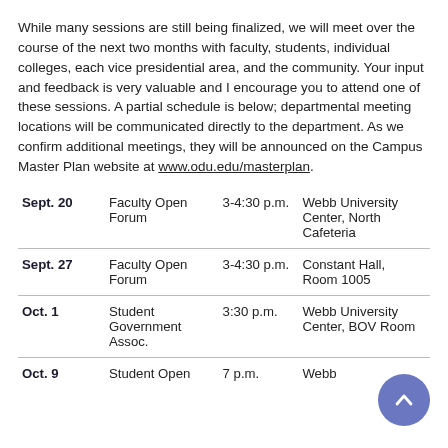While many sessions are still being finalized, we will meet over the course of the next two months with faculty, students, individual colleges, each vice presidential area, and the community. Your input and feedback is very valuable and I encourage you to attend one of these sessions. A partial schedule is below; departmental meeting locations will be communicated directly to the department. As we confirm additional meetings, they will be announced on the Campus Master Plan website at www.odu.edu/masterplan.
| Date | Event | Time | Location |
| --- | --- | --- | --- |
| Sept. 20 | Faculty Open Forum | 3-4:30 p.m. | Webb University Center, North Cafeteria |
| Sept. 27 | Faculty Open Forum | 3-4:30 p.m. | Constant Hall, Room 1005 |
| Oct. 1 | Student Government Assoc. | 3:30 p.m. | Webb University Center, BOV Room |
| Oct. 9 | Student Open | 7 p.m. | Webb |